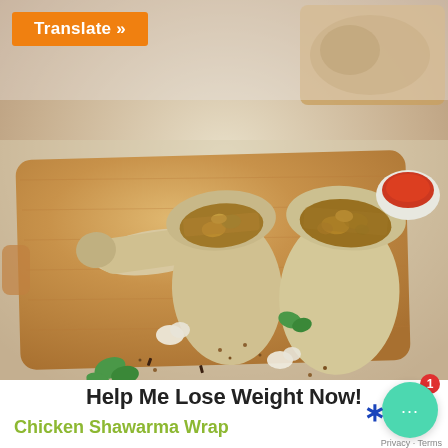[Figure (photo): Photo of chicken shawarma wraps cut in half and placed on a wooden cutting board, with garlic cloves, spices, and fresh herbs scattered around. Background shows more food and a bowl of red spice.]
Translate »
Help Me Lose Weight Now!
Chicken Shawarma Wrap